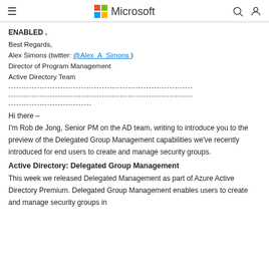Microsoft
ENABLED .
Best Regards,
Alex Simons (twitter: @Alex_A_Simons )
Director of Program Management
Active Directory Team
----------------------------------------------------------------------- ----------------------------------------------------------------------- --------------------------------
Hi there –
I'm Rob de Jong, Senior PM on the AD team, writing to introduce you to the preview of the Delegated Group Management capabilities we've recently introduced for end users to create and manage security groups.
Active Directory: Delegated Group Management
This week we released Delegated Management as part of Azure Active Directory Premium. Delegated Group Management enables users to create and manage security groups in